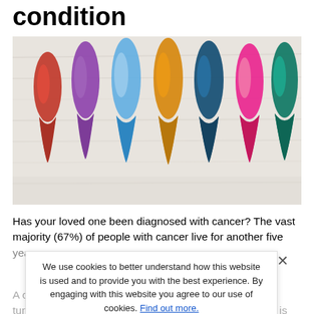condition
[Figure (photo): Seven colorful cancer awareness ribbons (red, purple, light blue, orange/gold, dark blue, pink, green) arranged in a row on a light wood background.]
Has your loved one been diagnosed with cancer? The vast majority (67%) of people with cancer live for another five years or more.
A cancer is considered stable or in remission when tumors shrink or at least temporarily stop growing. This is
We use cookies to better understand how this website is used and to provide you with the best experience. By engaging with this website you agree to our use of cookies. Find out more.